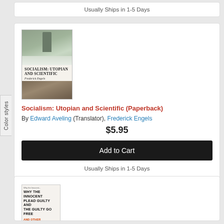Usually Ships in 1-5 Days
[Figure (illustration): Book cover of 'Socialism: Utopian and Scientific' by Frederick Engels, showing a winter scene with a church/tower in snow]
Socialism: Utopian and Scientific (Paperback)
By Edward Aveling (Translator), Frederick Engels
$5.95
Add to Cart
Usually Ships in 1-5 Days
[Figure (illustration): Book cover of 'Why the Innocent Plead Guilty and the Guilty Go Free']